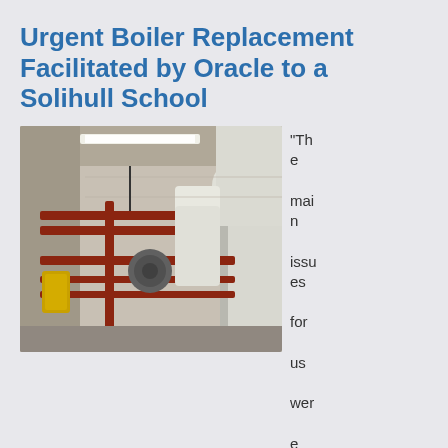Urgent Boiler Replacement Facilitated by Oracle to a Solihull School
[Figure (photo): Interior photo of a boiler room showing red copper pipes, insulated white pipes/ducts, a yellow safety valve component, and wall-mounted equipment against white brick walls.]
“The main issues for us were that we needed to get the asbestos removed and the boiler works finished before the school came back from their break.